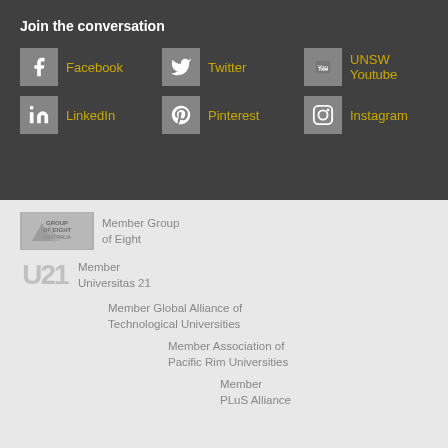Join the conversation
Facebook
Twitter
UNSW Youtube
LinkedIn
Pinterest
Instagram
Member Group of Eight
Member Universitas 21
Member Global Alliance of Technological Universities
Member Association of Pacific Rim Universities
Member PLuS Alliance